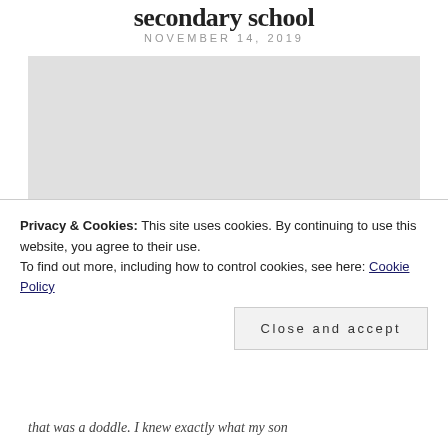secondary school
NOVEMBER 14, 2019
[Figure (photo): Large image placeholder (gray block) representing a photo related to the article about secondary school]
Privacy & Cookies: This site uses cookies. By continuing to use this website, you agree to their use.
To find out more, including how to control cookies, see here: Cookie Policy
Close and accept
that was a doddle. I knew exactly what my son